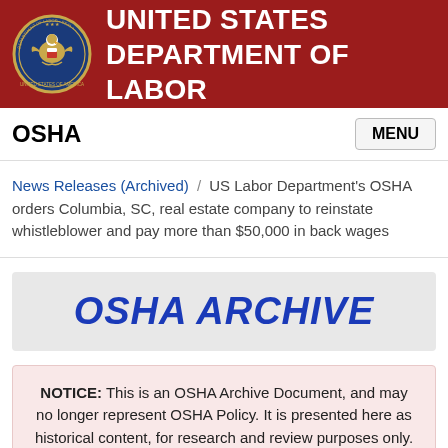UNITED STATES DEPARTMENT OF LABOR
OSHA
News Releases (Archived) / US Labor Department's OSHA orders Columbia, SC, real estate company to reinstate whistleblower and pay more than $50,000 in back wages
[Figure (other): OSHA ARCHIVE banner in large bold italic blue text on gray background]
NOTICE: This is an OSHA Archive Document, and may no longer represent OSHA Policy. It is presented here as historical content, for research and review purposes only.